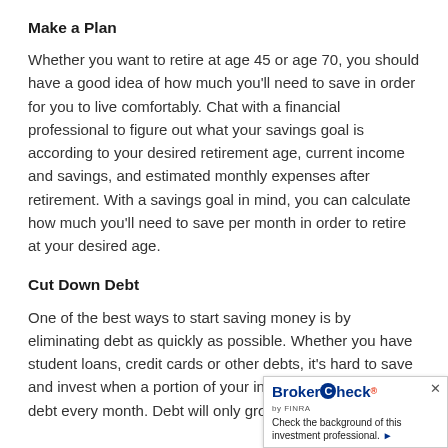Make a Plan
Whether you want to retire at age 45 or age 70, you should have a good idea of how much you’ll need to save in order for you to live comfortably. Chat with a financial professional to figure out what your savings goal is according to your desired retirement age, current income and savings, and estimated monthly expenses after retirement. With a savings goal in mind, you can calculate how much you’ll need to save per month in order to retire at your desired age.
Cut Down Debt
One of the best ways to start saving money is by eliminating debt as quickly as possible. Whether you have student loans, credit cards or other debts, it’s hard to save and invest when a portion of your income is going toward debt every month. Debt will only grow the lon…
[Figure (other): BrokerCheck by FINRA widget — 'Check the background of this investment professional.' with a close button (x)]